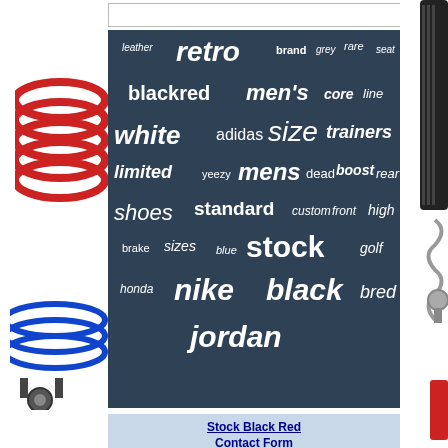[Figure (infographic): Word cloud on dark teal/navy background featuring words related to shoes, sneakers, and automotive parts including: retro, leather, brand, grey, rare, seat, blackred, men's, core, line, white, adidas, size, trainers, limited, yeezy, mens, dead, boost, rear, shoes, standard, custom, front, high, brake, sizes, blue, stock, golf, honda, nike, black, bred, jordan]
Stock Black Red
Contact Form